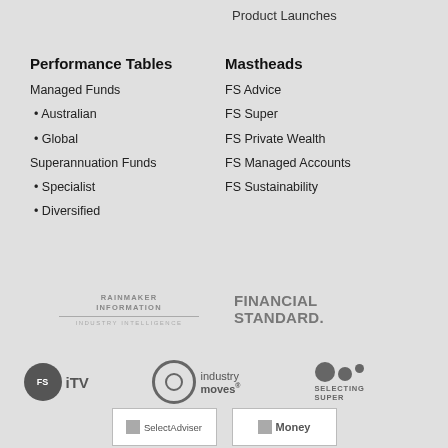Product Launches
Performance Tables
Managed Funds
• Australian
• Global
Superannuation Funds
• Specialist
• Diversified
Mastheads
FS Advice
FS Super
FS Private Wealth
FS Managed Accounts
FS Sustainability
[Figure (logo): Rainmaker Information Industry Intelligence logo]
[Figure (logo): Financial Standard logo]
[Figure (logo): FS iTV logo]
[Figure (logo): Industry Moves logo]
[Figure (logo): Selecting Super logo with bubbles]
[Figure (logo): SelectAdviser logo box]
[Figure (logo): Money logo box]